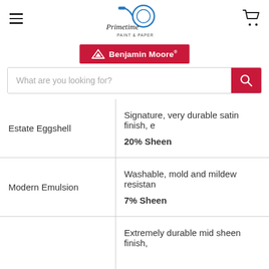[Figure (logo): Primetime Paint & Paper logo — blue paint roller with circular design and script text]
[Figure (logo): Benjamin Moore red banner logo with triangle mountain icon]
What are you looking for?
| Product | Description |
| --- | --- |
| Estate Eggshell | Signature, very durable satin finish, e…
20% Sheen |
| Modern Emulsion | Washable, mold and mildew resistant
7% Sheen |
|  | Extremely durable mid sheen finish, |